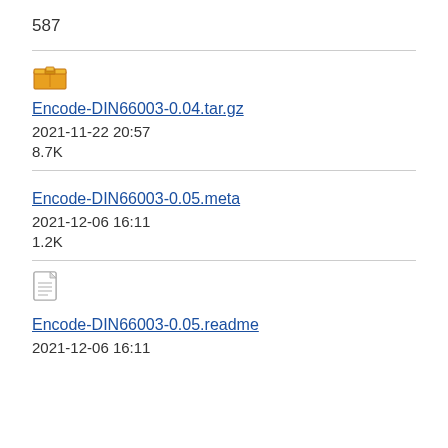587
[Figure (illustration): Archive/box icon for tar.gz file]
Encode-DIN66003-0.04.tar.gz
2021-11-22 20:57
8.7K
Encode-DIN66003-0.05.meta
2021-12-06 16:11
1.2K
[Figure (illustration): Document/text file icon for readme file]
Encode-DIN66003-0.05.readme
2021-12-06 16:11